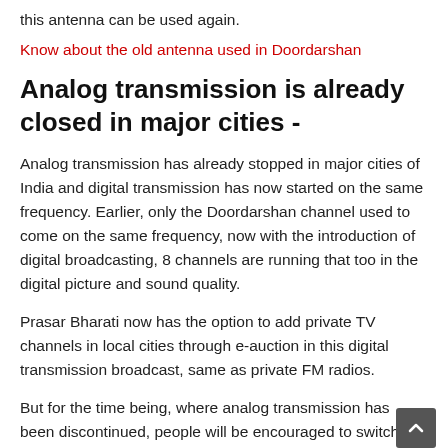this antenna can be used again.
Know about the old antenna used in Doordarshan
Analog transmission is already closed in major cities -
Analog transmission has already stopped in major cities of India and digital transmission has now started on the same frequency. Earlier, only the Doordarshan channel used to come on the same frequency, now with the introduction of digital broadcasting, 8 channels are running that too in the digital picture and sound quality.
Prasar Bharati now has the option to add private TV channels in local cities through e-auction in this digital transmission broadcast, same as private FM radios.
But for the time being, where analog transmission has been discontinued, people will be encouraged to switch to DD Free Dish. However, 98 percent of India's population is